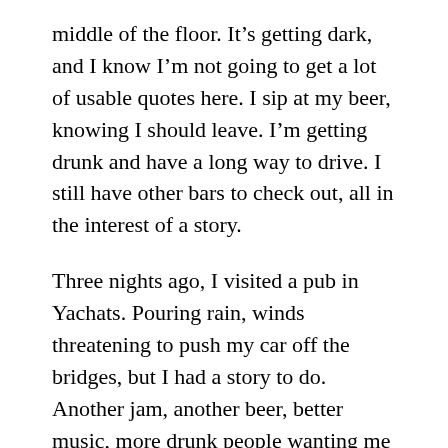middle of the floor. It’s getting dark, and I know I’m not going to get a lot of usable quotes here. I sip at my beer, knowing I should leave. I’m getting drunk and have a long way to drive. I still have other bars to check out, all in the interest of a story.
Three nights ago, I visited a pub in Yachats. Pouring rain, winds threatening to push my car off the bridges, but I had a story to do. Another jam, another beer, better music, more drunk people wanting me to write about them.
Now I spray my mouth with Binaca and head south to Newport to visit jams at Harpoon Hannah’s and the notorious Bay Haven. I’m